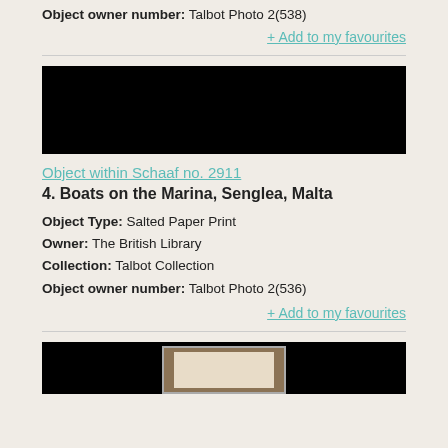Object owner number: Talbot Photo 2(538)
+ Add to my favourites
[Figure (photo): Black rectangular image block (photograph, mostly dark/black)]
Object within Schaaf no. 2911
4. Boats on the Marina, Senglea, Malta
Object Type: Salted Paper Print
Owner: The British Library
Collection: Talbot Collection
Object owner number: Talbot Photo 2(536)
+ Add to my favourites
[Figure (photo): Black image block with partial view of a framed photograph at the bottom center]